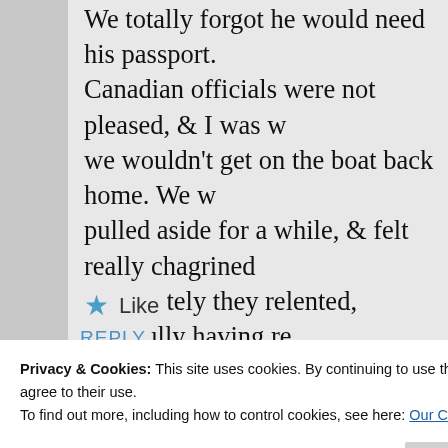We totally forgot he would need his passport. Canadian officials were not pleased, & I was worried we wouldn't get on the boat back home. We were pulled aside for a while, & felt really chagrined. Fortunately they relented, hopefully having realized that Grandpa Ted, a diminutive little chap, was no threat to Canada! BTW he survived the trenches from age16 on (until he was 18) in WW1, then drove fire engines in the Blitz in WW2 & lived to be 94!
Like
REPLY
Privacy & Cookies: This site uses cookies. By continuing to use this website, you agree to their use. To find out more, including how to control cookies, see here: Our Cookie Policy
Close and accept
God bless that gentleman, and all other